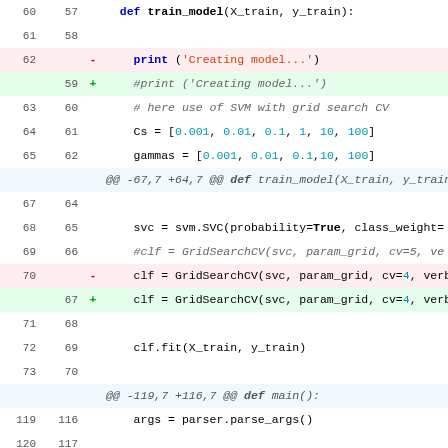[Figure (screenshot): Code diff view showing Python source changes in a file. Lines 60-73 and 119-122 are shown with old/new line numbers, deletion lines highlighted in red, addition lines in green, and hunk headers in blue. The diff modifies a train_model function and main function, changing print statements, SVM GridSearchCV cv parameter, and p_every_ls assignment.]